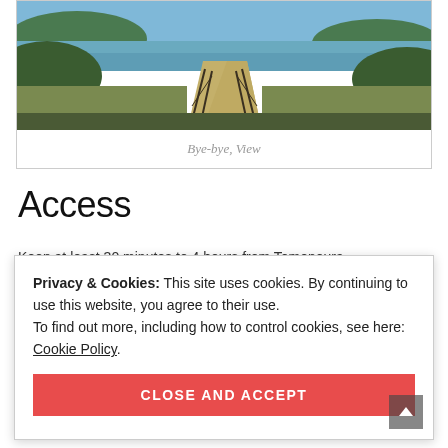[Figure (photo): Aerial or elevated view of a sandy path/walkway leading toward a body of water (sea/bay) with islands visible, flanked by trees and fencing, under a blue sky.]
Bye-bye, View
Access
Privacy & Cookies: This site uses cookies. By continuing to use this website, you agree to their use.
To find out more, including how to control cookies, see here: Cookie Policy
CLOSE AND ACCEPT